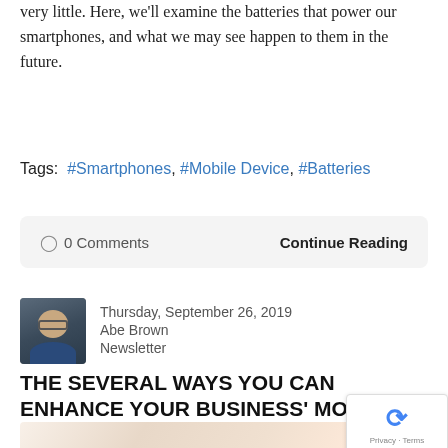very little. Here, we'll examine the batteries that power our smartphones, and what we may see happen to them in the future.
Tags: #Smartphones, #Mobile Device, #Batteries
0 Comments   Continue Reading
[Figure (photo): Author avatar photo of Abe Brown, a man with glasses and a blue jacket]
THE SEVERAL WAYS YOU CAN ENHANCE YOUR BUSINESS' MOBILITY
Thursday, September 26, 2019
Abe Brown
Newsletter
[Figure (photo): Partial image of a smartphone being held in a hand, peach/warm-toned background]